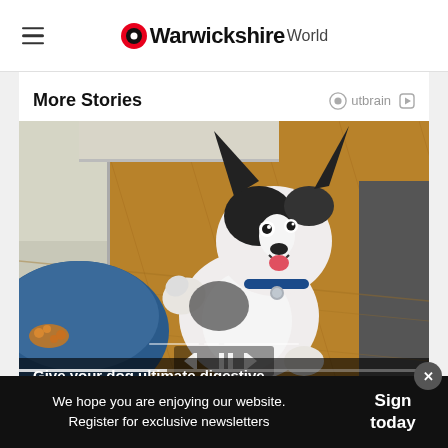Warwickshire World
More Stories
[Figure (photo): A black and white border collie dog excitedly jumping up near a food bowl on a wooden floor kitchen, viewed from above]
Give your dog ultimate digestive
We hope you are enjoying our website. Register for exclusive newsletters
Sign today